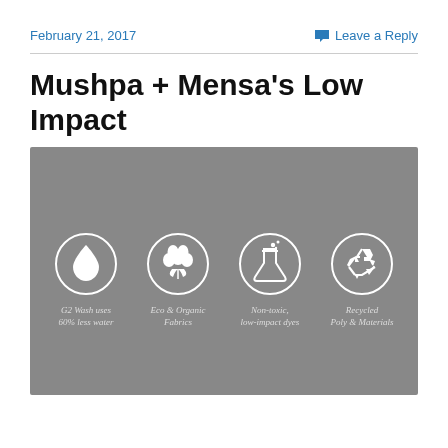February 21, 2017   Leave a Reply
Mushpa + Mensa’s Low Impact
[Figure (infographic): Grey infographic with four circular icons on grey background. Icons (left to right): water drop (G2 Wash uses 60% less water), cotton flower (Eco & Organic Fabrics), laboratory flask with bubbles (Non-toxic, low-impact dyes), recycling arrows (Recycled Poly & Materials). All icons are white outlines on grey circles.]